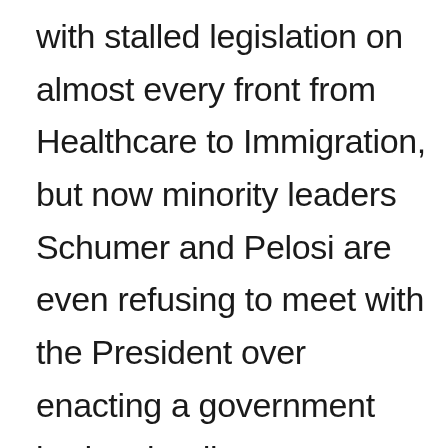with stalled legislation on almost every front from Healthcare to Immigration, but now minority leaders Schumer and Pelosi are even refusing to meet with the President over enacting a government budget leading us to another looming government shutdown in December…we can't seem to keep the government functional or even running for the most powerful nation on Earth.